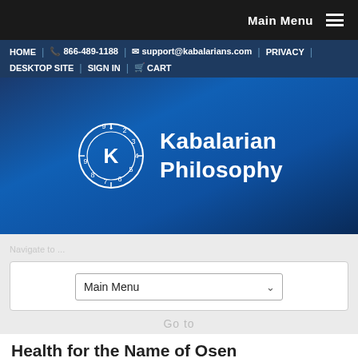Main Menu
HOME | 866-489-1188 | support@kabalarians.com | PRIVACY | DESKTOP SITE | SIGN IN | CART
[Figure (logo): Kabalarian Philosophy logo with circular clock-like emblem with K and numbers 1-9, white text on blue gradient background]
Main Menu dropdown widget
Health for the Name of Osen